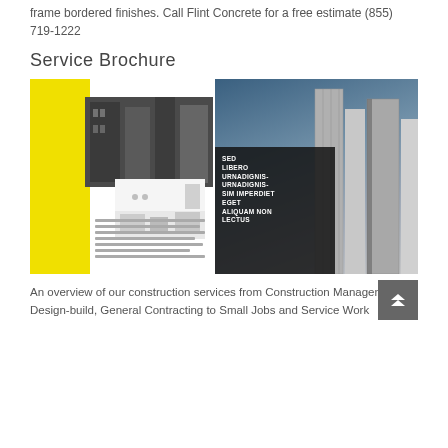frame bordered finishes. Call Flint Concrete for a free estimate (855) 719-1222
Service Brochure
[Figure (photo): Open brochure mockup showing construction-themed layout with yellow accent block on left page, building/interior photos, dark text overlay reading 'SED LIBERO URNADIGNIS-URNADIGNIS-SIM IMPERDIET EGET ALIQUAM NON LECTUS', and tall city buildings on right page background.]
An overview of our construction services from Construction Management, Design-build, General Contracting to Small Jobs and Service Work